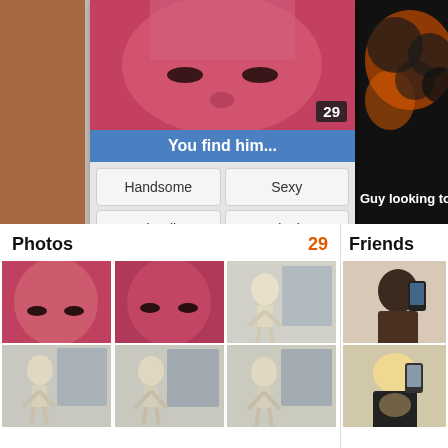[Figure (screenshot): Social network profile card showing a man's face with red lighting, age badge 29, 'You find him...' prompt with options: Handsome, Sexy, Friendly, Intriguing. Dark background with orange/brown abstract imagery on right. Text: 'Guy looking to trade with']
[Figure (screenshot): Photos section showing 29 photos count, grid of face and skeleton photos. Friends section partially visible with women's selfie photos.]